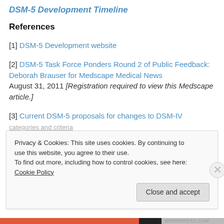DSM-5 Development Timeline
References
[1] DSM-5 Development website
[2] DSM-5 Task Force Ponders Round 2 of Public Feedback: Deborah Brauser for Medscape Medical News August 31, 2011 [Registration required to view this Medscape article.]
[3] Current DSM-5 proposals for changes to DSM-IV categories and criteria
Privacy & Cookies: This site uses cookies. By continuing to use this website, you agree to their use. To find out more, including how to control cookies, see here: Cookie Policy
Close and accept